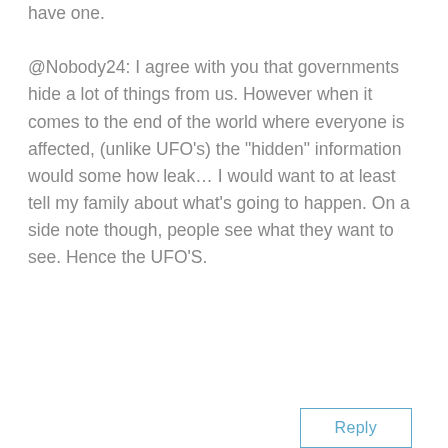have one.

@Nobody24: I agree with you that governments hide a lot of things from us. However when it comes to the end of the world where everyone is affected, (unlike UFO’s) the “hidden” information would some how leak… I would want to at least tell my family about what’s going to happen. On a side note though, people see what they want to see. Hence the UFO’S.
Reply
Brianna on May 17, 2010 at 3:46 pm
thank you!!!!!! i was so afraid that the world was gonna end and my friends thought so too so i was worried and didnt know where to turn to i went to google and found this